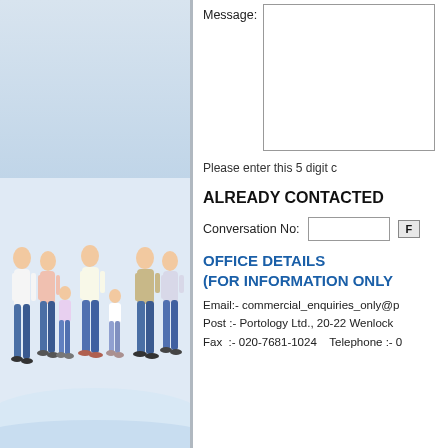[Figure (photo): Group of adults and children walking together on a beach against a light blue-grey background, left panel decoration]
Message:
Please enter this 5 digit c
ALREADY CONTACTED
Conversation No:
OFFICE DETAILS
(FOR INFORMATION ONLY
Email:- commercial_enquiries_only@p
Post :- Portology Ltd., 20-22 Wenlock
Fax  :- 020-7681-1024    Telephone :- 0